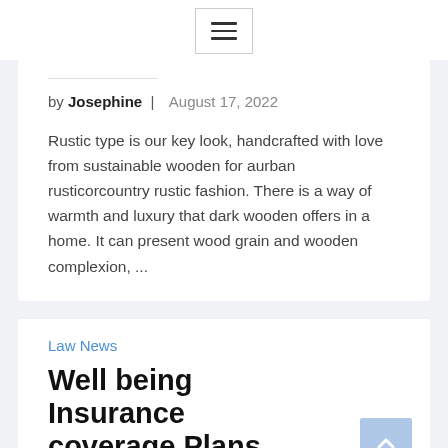[Figure (other): Hamburger menu navigation button with three horizontal lines]
by Josephine | August 17, 2022
Rustic type is our key look, handcrafted with love from sustainable wooden for aurban rusticorcountry rustic fashion. There is a way of warmth and luxury that dark wooden offers in a home. It can present wood grain and wooden complexion, ...
Law News
Well being Insurance coverage Plans